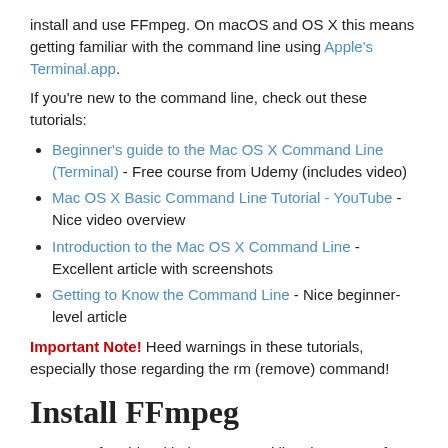install and use FFmpeg. On macOS and OS X this means getting familiar with the command line using Apple's Terminal.app.
If you're new to the command line, check out these tutorials:
Beginner's guide to the Mac OS X Command Line (Terminal) - Free course from Udemy (includes video)
Mac OS X Basic Command Line Tutorial - YouTube - Nice video overview
Introduction to the Mac OS X Command Line - Excellent article with screenshots
Getting to Know the Command Line - Nice beginner-level article
Important Note! Heed warnings in these tutorials, especially those regarding the rm (remove) command!
Install FFmpeg
Once comfortable with the command line, here are a few FFmpeg installation tutorials. Both use the de facto OS X package manager, Homebrew, to install and configure FFmpeg.
Install FFmpeg on Mac OSX - Simple three-step Homebrew installation tutorial
How to install FFmpeg on Mac - More in-depth installation